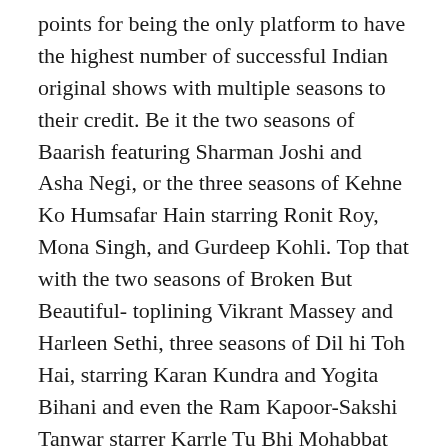points for being the only platform to have the highest number of successful Indian original shows with multiple seasons to their credit. Be it the two seasons of Baarish featuring Sharman Joshi and Asha Negi, or the three seasons of Kehne Ko Humsafar Hain starring Ronit Roy, Mona Singh, and Gurdeep Kohli. Top that with the two seasons of Broken But Beautiful- toplining Vikrant Massey and Harleen Sethi, three seasons of Dil hi Toh Hai, starring Karan Kundra and Yogita Bihani and even the Ram Kapoor-Sakshi Tanwar starrer Karrle Tu Bhi Mohabbat had three seasons. Now, that speaks volumes, isn't it!